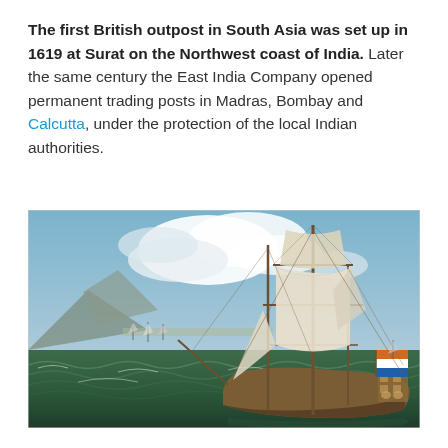The first British outpost in South Asia was set up in 1619 at Surat on the Northwest coast of India. Later the same century the East India Company opened permanent trading posts in Madras, Bombay and Calcutta, under the protection of the local Indian authorities.
[Figure (photo): Historical oil painting of a large sailing ship at sea with full sails, flying an orange, white, and blue striped flag (Dutch East India Company). The ship is seen from behind/side, sailing on choppy green waters. In the background are other smaller sailing vessels and a mountainous coastline under a blue sky with clouds.]